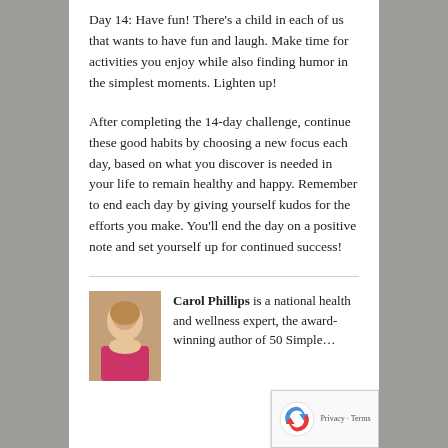Day 14: Have fun! There's a child in each of us that wants to have fun and laugh. Make time for activities you enjoy while also finding humor in the simplest moments. Lighten up!
After completing the 14-day challenge, continue these good habits by choosing a new focus each day, based on what you discover is needed in your life to remain healthy and happy. Remember to end each day by giving yourself kudos for the efforts you make. You'll end the day on a positive note and set yourself up for continued success!
Carol Phillips is a national health and wellness expert, the award-winning author of 50 Simple...